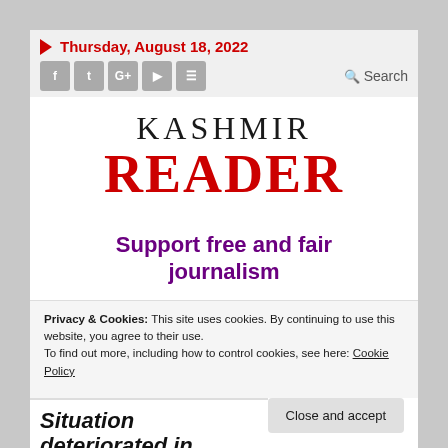Thursday, August 18, 2022
KASHMIR READER
Support free and fair journalism
Privacy & Cookies: This site uses cookies. By continuing to use this website, you agree to their use.
To find out more, including how to control cookies, see here: Cookie Policy
Situation deteriorated in Kashmir